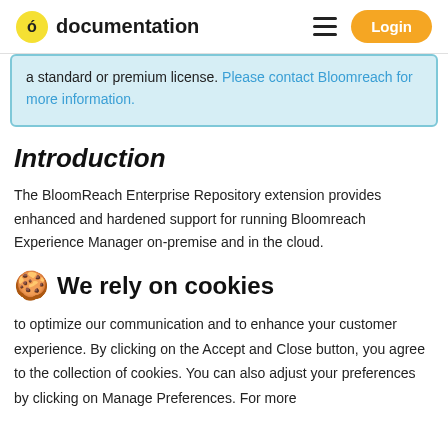documentation  Login
a standard or premium license. Please contact Bloomreach for more information.
Introduction
The BloomReach Enterprise Repository extension provides enhanced and hardened support for running Bloomreach Experience Manager on-premise and in the cloud.
🍪 We rely on cookies
to optimize our communication and to enhance your customer experience. By clicking on the Accept and Close button, you agree to the collection of cookies. You can also adjust your preferences by clicking on Manage Preferences. For more